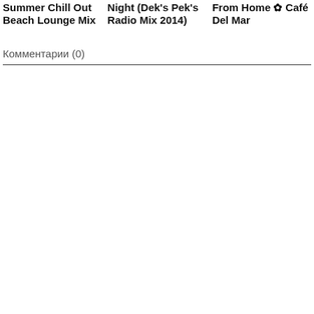Summer Chill Out Beach Lounge Mix
Night (Dek's Pek's Radio Mix 2014)
From Home ✿ Café Del Mar
Комментарии (0)